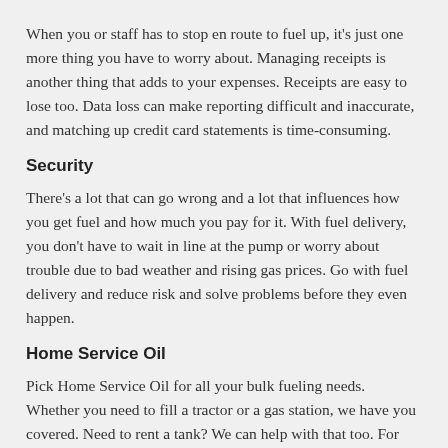When you or staff has to stop en route to fuel up, it's just one more thing you have to worry about. Managing receipts is another thing that adds to your expenses. Receipts are easy to lose too. Data loss can make reporting difficult and inaccurate, and matching up credit card statements is time-consuming.
Security
There's a lot that can go wrong and a lot that influences how you get fuel and how much you pay for it. With fuel delivery, you don't have to wait in line at the pump or worry about trouble due to bad weather and rising gas prices. Go with fuel delivery and reduce risk and solve problems before they even happen.
Home Service Oil
Pick Home Service Oil for all your bulk fueling needs. Whether you need to fill a tractor or a gas station, we have you covered. Need to rent a tank? We can help with that too. For more information, call us today at 1-800-...